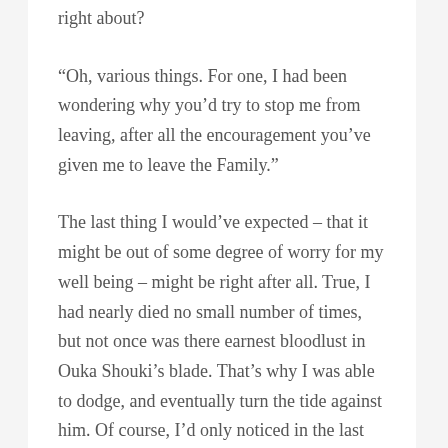right about?
“Oh, various things. For one, I had been wondering why you’d try to stop me from leaving, after all the encouragement you’ve given me to leave the Family.”
The last thing I would’ve expected – that it might be out of some degree of worry for my well being – might be right after all. True, I had nearly died no small number of times, but not once was there earnest bloodlust in Ouka Shouki’s blade. That’s why I was able to dodge, and eventually turn the tide against him. Of course, I’d only noticed in the last leg of the fight, but if he wanted to kill me from the beginning, Suzune and I would be bleeding out on the carpet now. Every aspect of